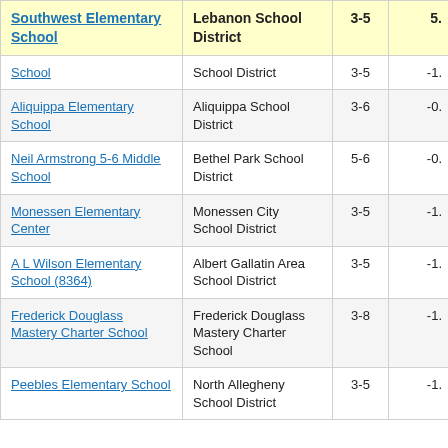| School | District | Grades | Value |
| --- | --- | --- | --- |
| Southwest Elementary School | Lebanon School District | 3-5 | 5. |
| School | School District | 3-5 | -1. |
| Aliquippa Elementary School | Aliquippa School District | 3-6 | -0. |
| Neil Armstrong 5-6 Middle School | Bethel Park School District | 5-6 | -0. |
| Monessen Elementary Center | Monessen City School District | 3-5 | -1. |
| A L Wilson Elementary School (8364) | Albert Gallatin Area School District | 3-5 | -1. |
| Frederick Douglass Mastery Charter School | Frederick Douglass Mastery Charter School | 3-8 | -1. |
| Peebles Elementary School | North Allegheny School District | 3-5 | -1. |